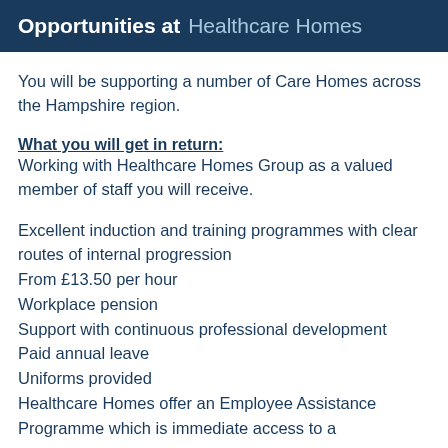Opportunities at Healthcare Homes
You will be supporting a number of Care Homes across the Hampshire region.
What you will get in return:
Working with Healthcare Homes Group as a valued member of staff you will receive.
Excellent induction and training programmes with clear routes of internal progression
From £13.50 per hour
Workplace pension
Support with continuous professional development
Paid annual leave
Uniforms provided
Healthcare Homes offer an Employee Assistance Programme which is immediate access to a